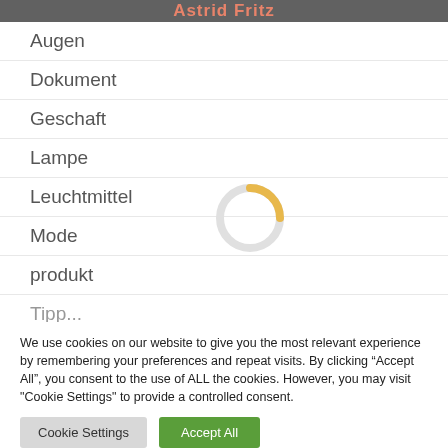Astrid Fritz
Augen
Dokument
Geschaft
Lampe
Leuchtmittel
Mode
produkt
Tipp...
[Figure (other): Loading spinner — circular progress indicator, partially filled in gold/yellow color]
We use cookies on our website to give you the most relevant experience by remembering your preferences and repeat visits. By clicking “Accept All”, you consent to the use of ALL the cookies. However, you may visit "Cookie Settings" to provide a controlled consent.
Cookie Settings | Accept All